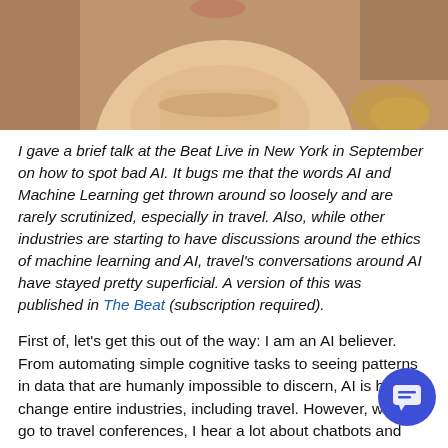[Figure (photo): Close-up photo of a person's lower face/chin and neck area, cropped, with blurred background]
I gave a brief talk at the Beat Live in New York in September on how to spot bad AI. It bugs me that the words AI and Machine Learning get thrown around so loosely and are rarely scrutinized, especially in travel. Also, while other industries are starting to have discussions around the ethics of machine learning and AI, travel's conversations around AI have stayed pretty superficial. A version of this was published in The Beat (subscription required).
First of, let's get this out of the way: I am an AI believer. From automating simple cognitive tasks to seeing patterns in data that are humanly impossible to discern, AI is here to change entire industries, including travel. However, when I go to travel conferences, I hear a lot about chatbots and personalization, about how AI is going to transform the industry (see what I did there?), but we hear little about challenging bad AI. This is my attempt to help separate bad AI from good AI, to help us all focus on the